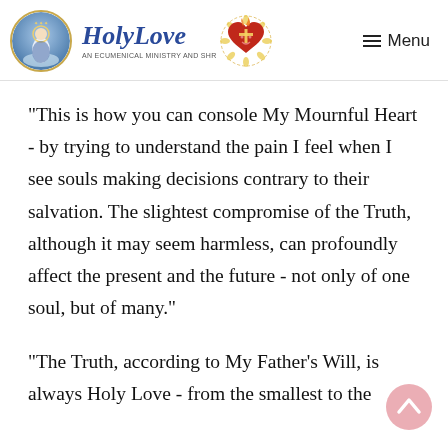Holy Love — An Ecumenical Ministry and Shrine | Menu
"This is how you can console My Mournful Heart - by trying to understand the pain I feel when I see souls making decisions contrary to their salvation. The slightest compromise of the Truth, although it may seem harmless, can profoundly affect the present and the future - not only of one soul, but of many."
"The Truth, according to My Father's Will, is always Holy Love - from the smallest to the